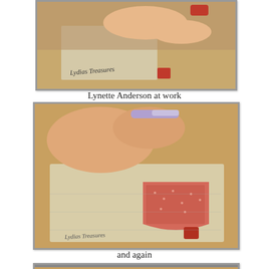[Figure (photo): Photo of hands cutting or working on fabric on a table, with 'Lydias Treasures' watermark visible]
Lynette Anderson at work
[Figure (photo): Photo of hands cutting fabric with scissors, a piece of printed fabric visible on linen, 'Lydias Treasures' watermark]
and again
[Figure (photo): Photo of fabric work in progress on a table, showing linen fabric pieces and pattern pieces]